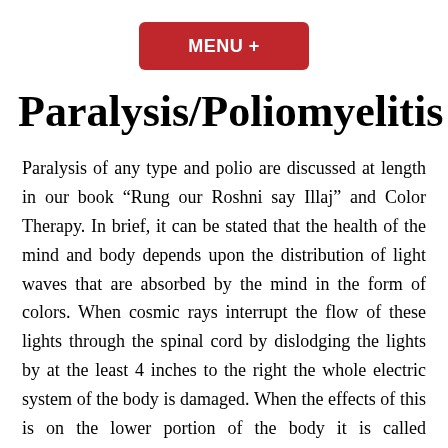[Figure (other): Red button labeled MENU +]
Paralysis/Poliomyelitis
Paralysis of any type and polio are discussed at length in our book “Rung our Roshni say Illaj” and Color Therapy. In brief, it can be stated that the health of the mind and body depends upon the distribution of light waves that are absorbed by the mind in the form of colors. When cosmic rays interrupt the flow of these lights through the spinal cord by dislodging the lights by at the least 4 inches to the right the whole electric system of the body is damaged. When the effects of this is on the lower portion of the body it is called Poliomyelitis or polio and when on the upper parts of the body it is called